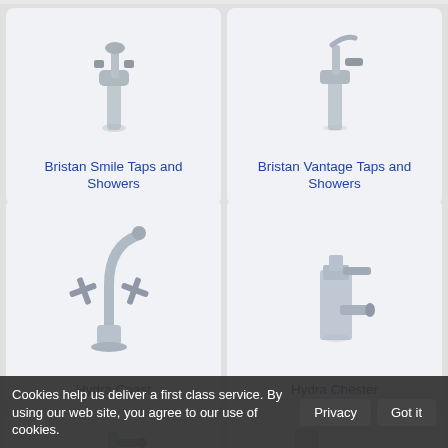[Figure (photo): Chrome basin mixer tap - Bristan Smile]
Bristan Smile Taps and Showers
[Figure (photo): Chrome basin mixer tap - Bristan Vantage]
Bristan Vantage Taps and Showers
[Figure (photo): Chrome kitchen mixer tap with cross handles - Hydra Coast]
Hydra Coast
[Figure (photo): Chrome square basin mixer tap - Hydra Chester]
Hydra Chester
[Figure (photo): Chrome modern basin mixer tap - bottom left]
[Figure (photo): Chrome wall-mounted bath filler tap - bottom right]
Cookies help us deliver a first class service. By using our web site, you agree to our use of cookies.
Privacy
Got it